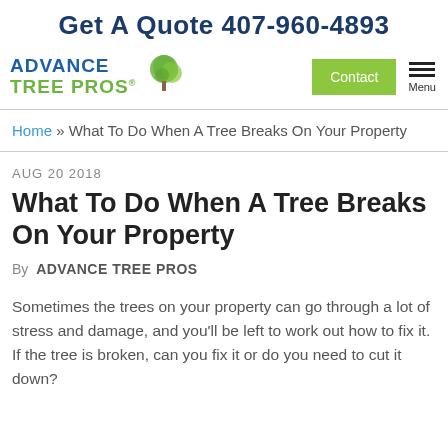Get A Quote 407-960-4893
[Figure (logo): Advance Tree Pros logo with stylized green tree icon]
Contact | Menu
Home » What To Do When A Tree Breaks On Your Property
AUG 20 2018
What To Do When A Tree Breaks On Your Property
By ADVANCE TREE PROS
Sometimes the trees on your property can go through a lot of stress and damage, and you'll be left to work out how to fix it. If the tree is broken, can you fix it or do you need to cut it down? The answer very much depends on several factors. Here's what...